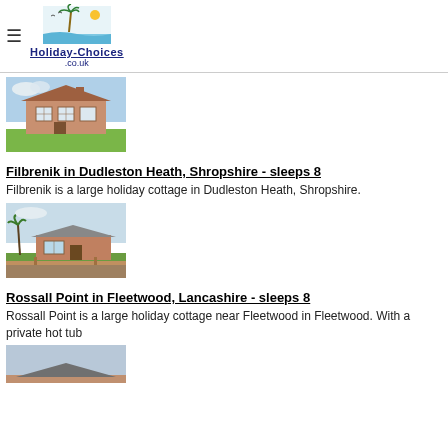Holiday-Choices .co.uk
[Figure (photo): Exterior photo of a large brick holiday house with garden]
Filbrenik in Dudleston Heath, Shropshire - sleeps 8
Filbrenik is a large holiday cottage in Dudleston Heath, Shropshire.
[Figure (photo): Exterior photo of a bungalow-style holiday cottage with garden plants]
Rossall Point in Fleetwood, Lancashire - sleeps 8
Rossall Point is a large holiday cottage near Fleetwood in Fleetwood. With a private hot tub
[Figure (photo): Partial exterior photo of a holiday property, clipped at bottom of page]